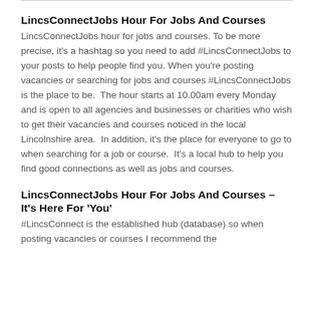LincsConnectJobs Hour For Jobs And Courses
LincsConnectJobs hour for jobs and courses. To be more precise, it's a hashtag so you need to add #LincsConnectJobs to your posts to help people find you. When you're posting vacancies or searching for jobs and courses #LincsConnectJobs is the place to be.  The hour starts at 10.00am every Monday and is open to all agencies and businesses or charities who wish to get their vacancies and courses noticed in the local Lincolnshire area.  In addition, it's the place for everyone to go to when searching for a job or course.  It's a local hub to help you find good connections as well as jobs and courses.
LincsConnectJobs Hour For Jobs And Courses – It's Here For 'You'
#LincsConnect is the established hub (database) so when posting vacancies or courses I recommend the